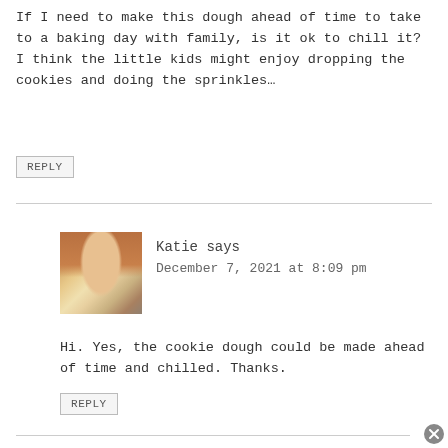If I need to make this dough ahead of time to take to a baking day with family, is it ok to chill it? I think the little kids might enjoy dropping the cookies and doing the sprinkles…
REPLY
Katie says
December 7, 2021 at 8:09 pm
Hi. Yes, the cookie dough could be made ahead of time and chilled. Thanks.
REPLY